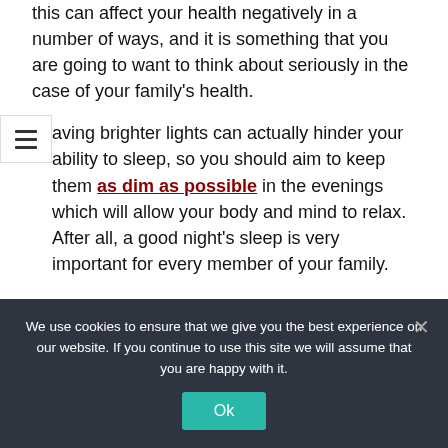this can affect your health negatively in a number of ways, and it is something that you are going to want to think about seriously in the case of your family's health.
Having brighter lights can actually hinder your ability to sleep, so you should aim to keep them as dim as possible in the evenings which will allow your body and mind to relax. After all, a good night's sleep is very important for every member of your family.
We use cookies to ensure that we give you the best experience on our website. If you continue to use this site we will assume that you are happy with it.